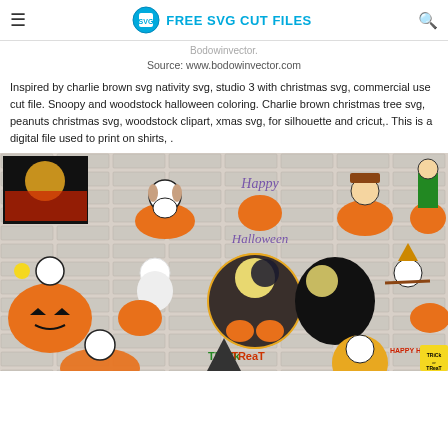FREE SVG CUT FILES
Bodowinvector.
Source: www.bodowinvector.com
Inspired by charlie brown svg nativity svg, studio 3 with christmas svg, commercial use cut file. Snoopy and woodstock halloween coloring. Charlie brown christmas tree svg, peanuts christmas svg, woodstock clipart, xmas svg, for silhouette and cricut,. This is a digital file used to print on shirts, .
[Figure (photo): Collage of Snoopy and Charlie Brown Peanuts Halloween SVG cut files on a brick wall background showing various characters with pumpkins, Halloween themes, trick or treat text, and festive designs.]